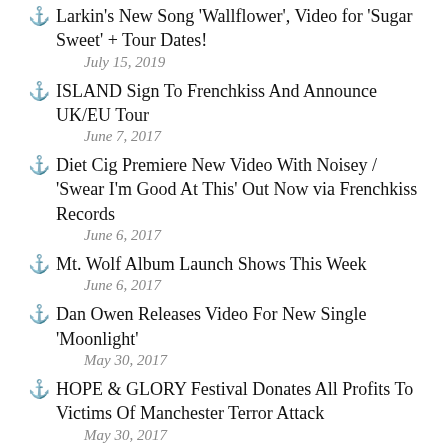Larkin's New Song 'Wallflower', Video for 'Sugar Sweet' + Tour Dates!
ISLAND Sign To Frenchkiss And Announce UK/EU Tour
Diet Cig Premiere New Video With Noisey / 'Swear I'm Good At This' Out Now via Frenchkiss Records
Mt. Wolf Album Launch Shows This Week
Dan Owen Releases Video For New Single 'Moonlight'
HOPE & GLORY Festival Donates All Profits To Victims Of Manchester Terror Attack
Out Today: London's Divisionists Release 'Dream Landscape' Single From Debut 'Daybreak' LP